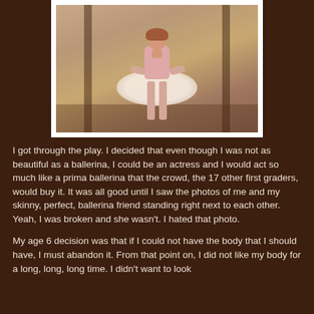[Figure (photo): A vintage-style photograph of a child dressed in a ballet tutu and pink top, standing in a doorway. The photo has a white border like a polaroid.]
I got through the play. I decided that even though I was not as beautiful as a ballerina, I could be an actress and I would act so much like a prima ballerina that the crowd, the 17 other first graders, would buy it. It was all good until I saw the photos of me and my skinny, perfect, ballerina friend standing right next to each other. Yeah, I was broken and she wasn't. I hated that photo.
My age 6 decision was that if I could not have the body that I should have, I must abandon it. From that point on, I did not like my body for a long, long, long time. I didn't want to look